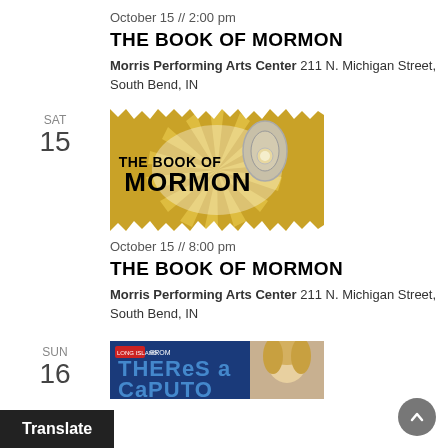October 15  //  2:00 pm
THE BOOK OF MORMON
Morris Performing Arts Center 211 N. Michigan Street, South Bend, IN
[Figure (illustration): The Book of Mormon musical poster with gold starburst background and doorbell]
October 15  //  8:00 pm
THE BOOK OF MORMON
Morris Performing Arts Center 211 N. Michigan Street, South Bend, IN
[Figure (illustration): Partial view of Theresa Caputo event poster with blonde woman]
SUN 16
Translate